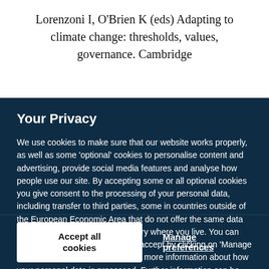Lorenzoni I, O'Brien K (eds) Adapting to climate change: thresholds, values, governance. Cambridge
Your Privacy
We use cookies to make sure that our website works properly, as well as some 'optional' cookies to personalise content and advertising, provide social media features and analyse how people use our site. By accepting some or all optional cookies you give consent to the processing of your personal data, including transfer to third parties, some in countries outside of the European Economic Area that do not offer the same data protection standards as the country where you live. You can decide which optional cookies to accept by clicking on 'Manage Settings', where you can also find more information about how your personal data is processed. Further information can be found in our privacy policy.
Accept all cookies
Manage preferences